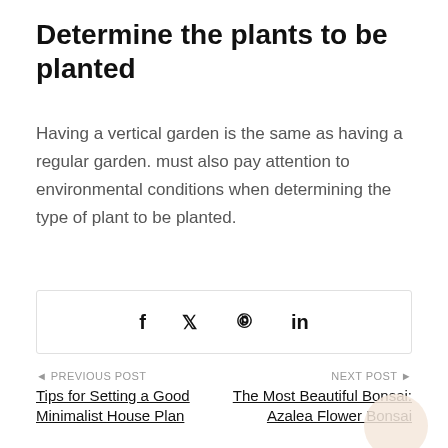Determine the plants to be planted
Having a vertical garden is the same as having a regular garden. must also pay attention to environmental conditions when determining the type of plant to be planted.
[Figure (other): Social share icons bar with Facebook (f), Twitter (bird), Pinterest (p), and LinkedIn (in) icons inside a bordered rectangle]
◄ PREVIOUS POST
Tips for Setting a Good Minimalist House Plan
NEXT POST ►
The Most Beautiful Bonsai: Azalea Flower Bonsai